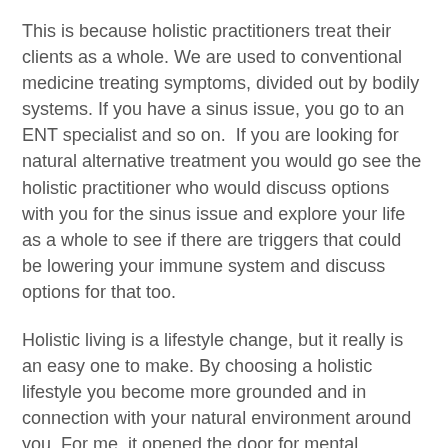This is because holistic practitioners treat their clients as a whole. We are used to conventional medicine treating symptoms, divided out by bodily systems. If you have a sinus issue, you go to an ENT specialist and so on.  If you are looking for natural alternative treatment you would go see the holistic practitioner who would discuss options with you for the sinus issue and explore your life as a whole to see if there are triggers that could be lowering your immune system and discuss options for that too.
Holistic living is a lifestyle change, but it really is an easy one to make. By choosing a holistic lifestyle you become more grounded and in connection with your natural environment around you. For me, it opened the door for mental wellbeing because I was able to realize how important it is for me to achieve peace even if it for only a few minutes every day.
It also opened my eyes to how eco-friendly natural holistic remedies are. When you work with nature your respect for it grows every day. Personally, this was such a great thing for me. It doubles as a way for me to